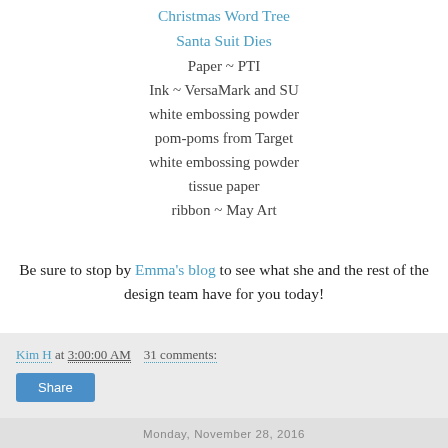Christmas Word Tree
Santa Suit Dies
Paper ~ PTI
Ink ~ VersaMark and SU
white embossing powder
pom-poms from Target
white embossing powder
tissue paper
ribbon ~ May Art
Be sure to stop by Emma's blog to see what she and the rest of the design team have for you today!
Kim H at 3:00:00 AM   31 comments:
Monday, November 28, 2016